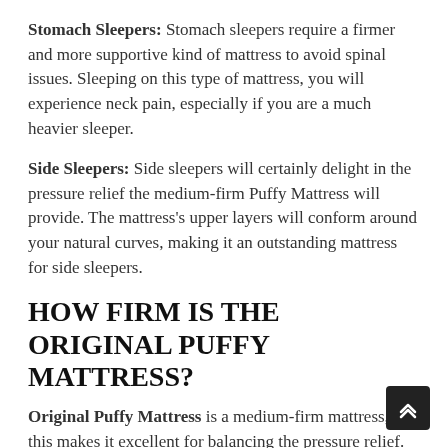Stomach Sleepers: Stomach sleepers require a firmer and more supportive kind of mattress to avoid spinal issues. Sleeping on this type of mattress, you will experience neck pain, especially if you are a much heavier sleeper.
Side Sleepers: Side sleepers will certainly delight in the pressure relief the medium-firm Puffy Mattress will provide. The mattress's upper layers will conform around your natural curves, making it an outstanding mattress for side sleepers.
HOW FIRM IS THE ORIGINAL PUFFY MATTRESS?
Original Puffy Mattress is a medium-firm mattress, and this makes it excellent for balancing the pressure relief.